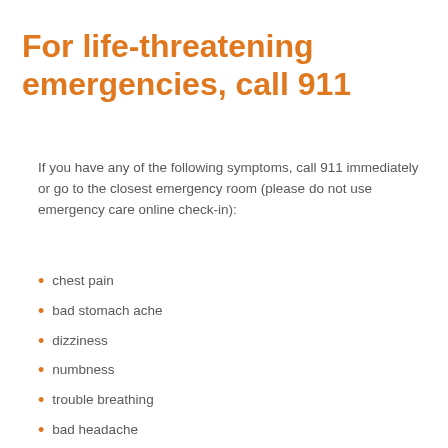For life-threatening emergencies, call 911
If you have any of the following symptoms, call 911 immediately or go to the closest emergency room (please do not use emergency care online check-in):
chest pain
bad stomach ache
dizziness
numbness
trouble breathing
bad headache
weakness